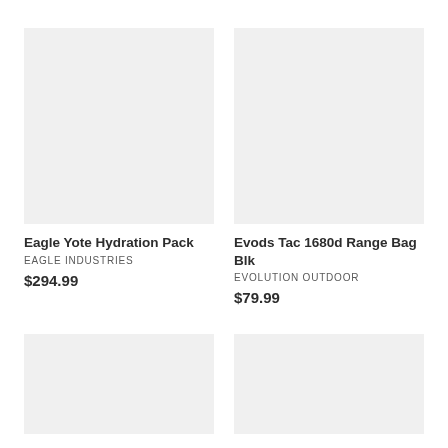[Figure (photo): Product image placeholder for Eagle Yote Hydration Pack - light gray rectangle]
[Figure (photo): Product image placeholder for Evods Tac 1680d Range Bag Blk - light gray rectangle]
Eagle Yote Hydration Pack
EAGLE INDUSTRIES
$294.99
Evods Tac 1680d Range Bag Blk
EVOLUTION OUTDOOR
$79.99
[Figure (photo): Product image placeholder - light gray rectangle, bottom left]
[Figure (photo): Product image placeholder - light gray rectangle, bottom right]